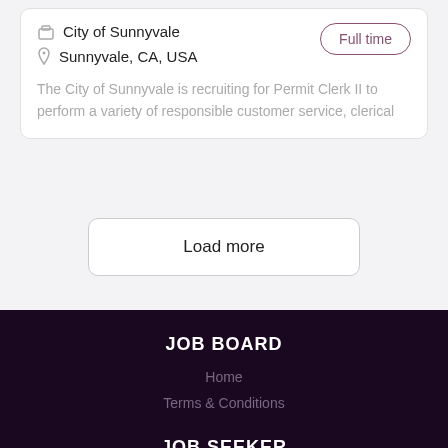City of Sunnyvale
Sunnyvale, CA, USA
Full time
The City of Sunnyvale is recruiting for Permit Clerk II to perform a variety of responsible customer service, clerical
Load more
JOB BOARD
Home
Terms & Conditions
JOB SEEKER